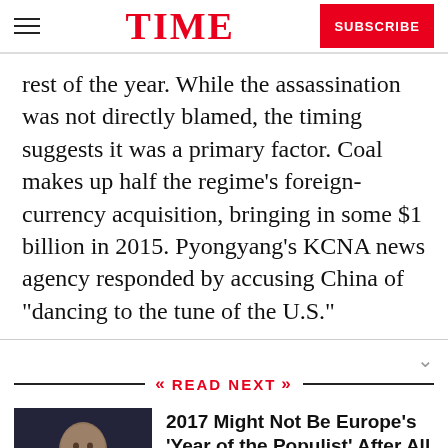TIME | SUBSCRIBE
rest of the year. While the assassination was not directly blamed, the timing suggests it was a primary factor. Coal makes up half the regime’s foreign-currency acquisition, bringing in some $1 billion in 2015. Pyongyang’s KCNA news agency responded by accusing China of “dancing to the tune of the U.S.”
READ NEXT
[Figure (photo): Headshot of a man in a suit, dark background]
2017 Might Not Be Europe's 'Year of the Populist' After All